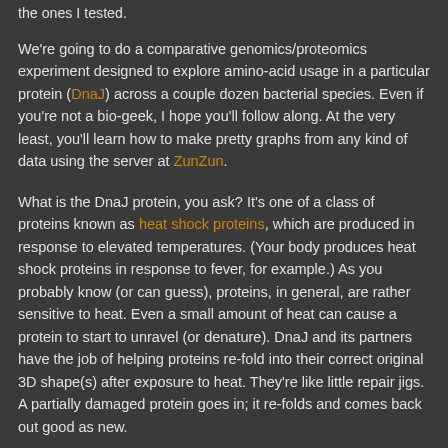the ones I tested.
We're going to do a comparative genomics/proteomics experiment designed to explore amino-acid usage in a particular protein (DnaJ) across a couple dozen bacterial species. Even if you're not a bio-geek, I hope you'll follow along. At the very least, you'll learn how to make pretty graphs from any kind of data using the server at ZunZun.
What is the DnaJ protein, you ask? It's one of a class of proteins known as heat shock proteins, which are produced in response to elevated temperatures. (Your body produces heat shock proteins in response to fever, for example.) As you probably know (or can guess), proteins, in general, are rather sensitive to heat. Even a small amount of heat can cause a protein to start to unravel (or denature). DnaJ and its partners have the job of helping proteins re-fold into their correct original 3D shape(s) after exposure to heat. They're like little repair jigs. A partially damaged protein goes in; it re-folds and comes back out good as new.
Heat shock proteins occur widely, across all domains of life, and their amino acid sequences are highly conserved, but...